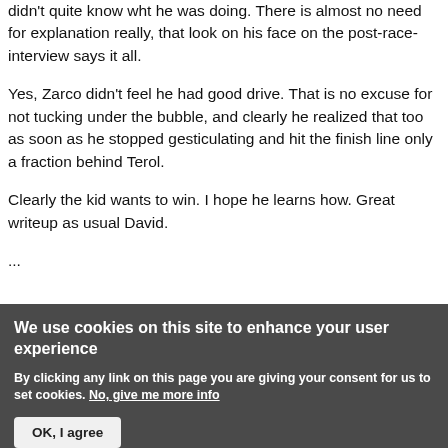didn't quite know wht he was doing. There is almost no need for explanation really, that look on his face on the post-race-interview says it all.
Yes, Zarco didn't feel he had good drive. That is no excuse for not tucking under the bubble, and clearly he realized that too as soon as he stopped gesticulating and hit the finish line only a fraction behind Terol.
Clearly the kid wants to win. I hope he learns how. Great writeup as usual David.
...
We use cookies on this site to enhance your user experience
By clicking any link on this page you are giving your consent for us to set cookies. No, give me more info
OK, I agree